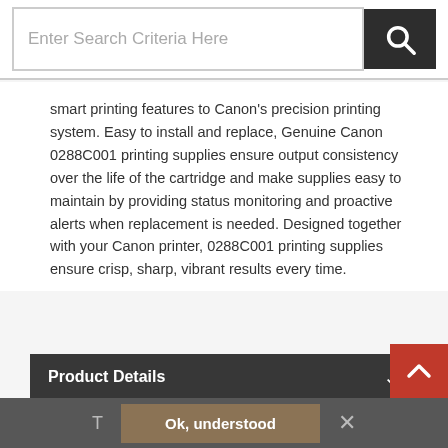Enter Search Criteria Here
smart printing features to Canon's precision printing system. Easy to install and replace, Genuine Canon 0288C001 printing supplies ensure output consistency over the life of the cartridge and make supplies easy to maintain by providing status monitoring and proactive alerts when replacement is needed. Designed together with your Canon printer, 0288C001 printing supplies ensure crisp, sharp, vibrant results every time.
Product Details
People who bought this also bought
Ok, understood